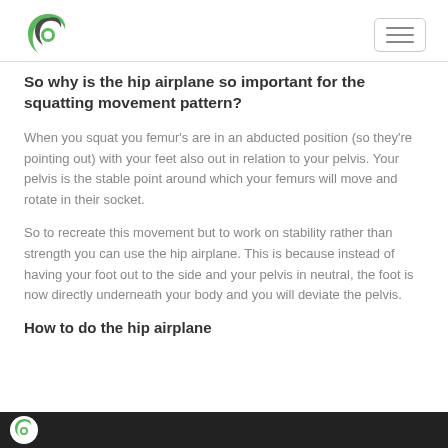So why is the hip airplane so important for the squatting movement pattern?
When you squat you femur's are in an abducted position (so they're pointing out) with your feet also out in relation to your pelvis. Your pelvis is the stable point around which your femurs will move and rotate in their socket.
So to recreate this movement but to work on stability rather than strength you can use the hip airplane. This is because instead of having your foot out to the side and your pelvis in neutral, the foot is now directly underneath your body and you will deviate the pelvis.
How to do the hip airplane
[Figure (screenshot): Bottom portion of a video thumbnail showing a dark background with a small green circular logo on the left side.]